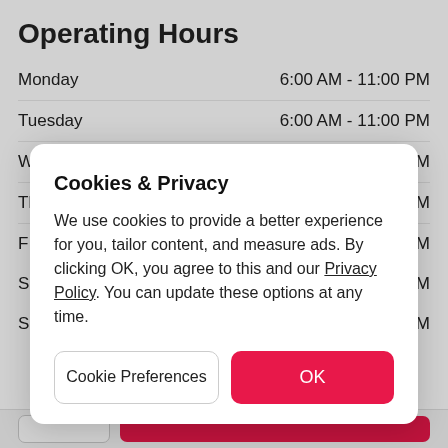Operating Hours
| Day | Hours |
| --- | --- |
| Monday | 6:00 AM - 11:00 PM |
| Tuesday | 6:00 AM - 11:00 PM |
| Wednesday | 6:00 AM - 11:00 PM |
| Thursday | 6:00 AM - 11:00 PM |
| F | M |
| S | M |
| S | M |
Cookies & Privacy
We use cookies to provide a better experience for you, tailor content, and measure ads. By clicking OK, you agree to this and our Privacy Policy. You can update these options at any time.
Cookie Preferences
OK